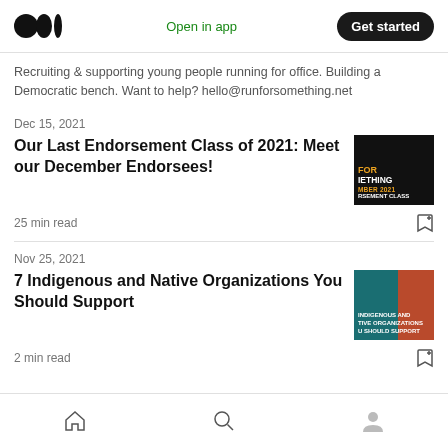Open in app | Get started
Recruiting & supporting young people running for office. Building a Democratic bench. Want to help? hello@runforsomething.net
Dec 15, 2021
Our Last Endorsement Class of 2021: Meet our December Endorsees!
25 min read
Nov 25, 2021
7 Indigenous and Native Organizations You Should Support
2 min read
Home | Search | Profile